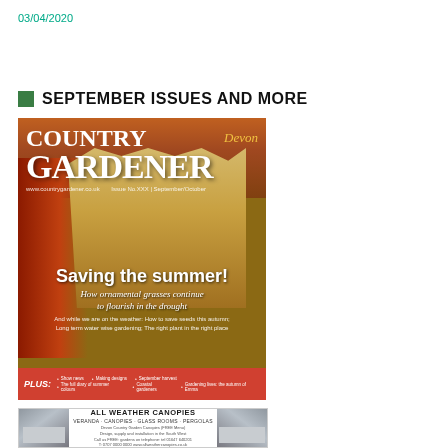03/04/2020
SEPTEMBER ISSUES AND MORE
[Figure (photo): Cover of Country Gardener magazine (Devon edition). Shows ornamental grasses and red autumn foliage. Headline reads 'Saving the summer! How ornamental grasses continue to flourish in the drought'. Red bottom bar with PLUS items. Website and issue info shown.]
[Figure (photo): Advertisement banner for All Weather Canopies showing a building with canopy/pergola structure. Text reads ALL WEATHER CANOPIES, VERANDA · CANOPIES · GLASS ROOMS · PERGOLAS.]